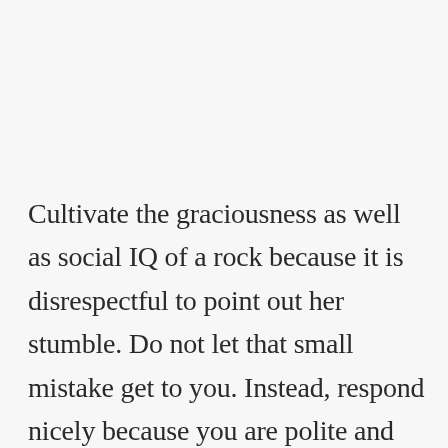Cultivate the graciousness as well as social IQ of a rock because it is disrespectful to point out her stumble. Do not let that small mistake get to you. Instead, respond nicely because you are polite and gracious, and you are leading by example.